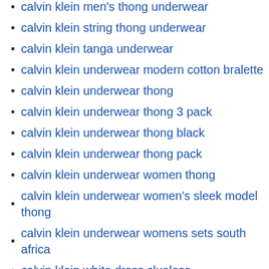calvin klein men's thong underwear
calvin klein string thong underwear
calvin klein tanga underwear
calvin klein underwear modern cotton bralette
calvin klein underwear thong
calvin klein underwear thong 3 pack
calvin klein underwear thong black
calvin klein underwear thong pack
calvin klein underwear women thong
calvin klein underwear women's sleek model thong
calvin klein underwear womens sets south africa
calvin klein white dress clueless
calvin klein womens bra and underwear set
calvin klein womens grey underwear set
calvin klein womens high waisted underwear set